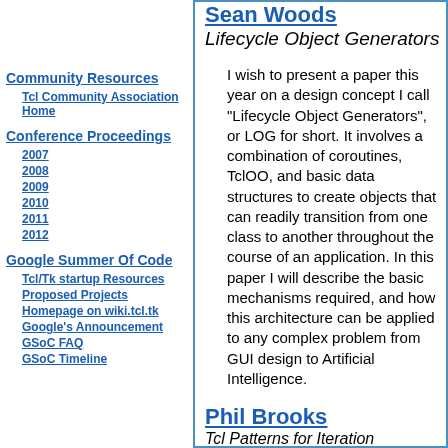Community Resources
Tcl Community Association Home
Conference Proceedings
2007
2008
2009
2010
2011
2012
Google Summer Of Code
Tcl/Tk startup Resources
Proposed Projects
Homepage on wiki.tcl.tk
Google's Announcement
GSoC FAQ
GSoC Timeline
Sean Woods
Lifecycle Object Generators
I wish to present a paper this year on a design concept I call "Lifecycle Object Generators", or LOG for short. It involves a combination of coroutines, TclOO, and basic data structures to create objects that can readily transition from one class to another throughout the course of an application. In this paper I will describe the basic mechanisms required, and how this architecture can be applied to any complex problem from GUI design to Artificial Intelligence.
Phil Brooks
Tcl Patterns for Iteration